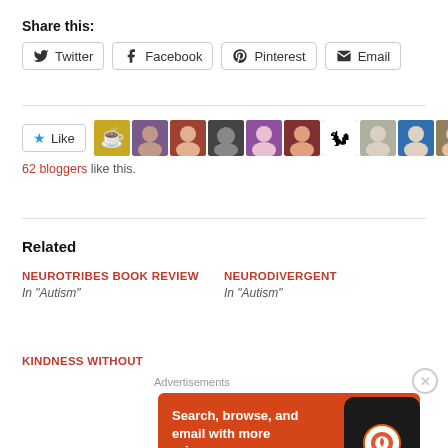Share this:
Twitter | Facebook | Pinterest | Email
[Figure (other): Like button with star icon and row of blogger avatar thumbnails]
62 bloggers like this.
Related
NEUROTRIBES BOOK REVIEW
In "Autism"
NEURODIVERGENT
In "Autism"
KINDNESS WITHOUT
Advertisements
[Figure (infographic): DuckDuckGo advertisement: orange background with phone, text 'Search, browse, and email with more privacy. All in One Free App' with DuckDuckGo logo]